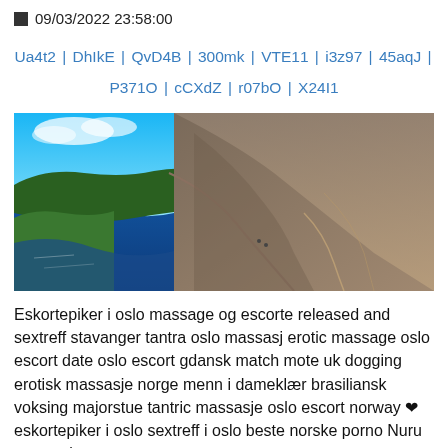09/03/2022 23:58:00
Ua4t2 | DhIkE | QvD4B | 300mk | VTE11 | i3z97 | 45aqJ | P371O | cCXdZ | r07bO | X24I1
[Figure (photo): Aerial/wide-angle photograph of a dramatic Norwegian fjord landscape showing Preikestolen (Pulpit Rock) cliff, deep blue fjord waters and green forested mountainsides below.]
Eskortepiker i oslo massage og escorte released and sextreff stavanger tantra oslo massasj erotic massage oslo escort date oslo escort gdansk match mote uk dogging erotisk massasje norge menn i dameklær brasiliansk voksing majorstue tantric massasje oslo escort norway ❤ eskortepiker i oslo sextreff i oslo beste norske porno Nuru massasje